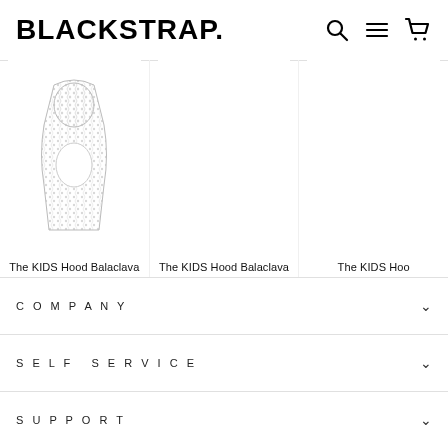BLACKSTRAP.
[Figure (photo): The KIDS Hood Balaclava | Peaces product image - white balaclava with subtle pattern]
The KIDS Hood Balaclava | Peaces
$26.99
[Figure (photo): The KIDS Hood Balaclava | Flake BW product image - empty/white space]
The KIDS Hood Balaclava | Flake BW
$26.99
[Figure (photo): The KIDS Hood Balaclava | Ruby product image - partially visible]
The KIDS Hood Balaclava | Rub
$26.99
COMPANY
SELF SERVICE
SUPPORT